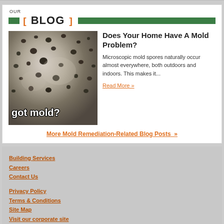OUR BLOG
[Figure (photo): Close-up photo of black mold spots on a surface with white text overlay reading 'got mold?']
Does Your Home Have A Mold Problem?
Microscopic mold spores naturally occur almost everywhere, both outdoors and indoors. This makes it...
Read More »
More Mold Remediation-Related Blog Posts »
Building Services
Careers
Contact Us
Privacy Policy
Terms & Conditions
Site Map
Visit our corporate site